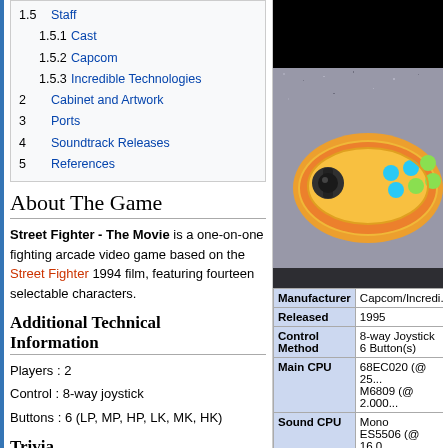1.5 Staff
1.5.1 Cast
1.5.2 Capcom
1.5.3 Incredible Technologies
2 Cabinet and Artwork
3 Ports
4 Soundtrack Releases
5 References
About The Game
Street Fighter - The Movie is a one-on-one fighting arcade video game based on the Street Fighter 1994 film, featuring fourteen selectable characters.
Additional Technical Information
Players : 2
Control : 8-way joystick
Buttons : 6 (LP, MP, HP, LK, MK, HK)
Trivia
[Figure (photo): Top image: dark/black background image (partially visible)]
[Figure (photo): Cabinet control panel image showing joystick and buttons on speckled background]
| Field | Value |
| --- | --- |
| Manufacturer | Capcom/Incredi... |
| Released | 1995 |
| Control Method | 8-way Joystick
6 Button(s) |
| Main CPU | 68EC020 (@ 25...
M6809 (@ 2.000... |
| Sound CPU | Mono
ES5506 (@ 16.0... |
| Video Details | Raster (Horizont...
200 x 200 pixels
60.00 Hz
32,768 Palette c... |
| Screens | 1 |
| ROM Info | 19 ROMs |